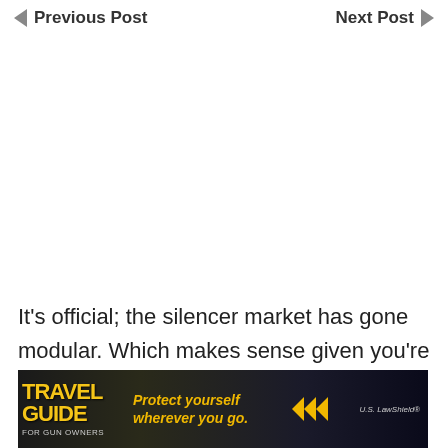Previous Post   Next Post
It's official; the silencer market has gone modular. Which makes sense given you're asked to plunk down $200 in Federal tax and wait about as long as it takes to make a new human being before receiving approval to take
[Figure (illustration): Advertisement banner for 'Travel Guide for Gun Owners' with tagline 'Protect yourself wherever you go.' and US LawShield branding. Dark background with orange/yellow arrows.]